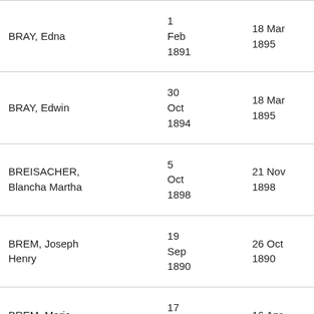| Name | Birth Date | Date 2 |  |
| --- | --- | --- | --- |
| BRAY, Edna | 1
Feb
1891 | 18 Mar
1895 | Br |
| BRAY, Edwin | 30
Oct
1894 | 18 Mar
1895 | Br |
| BREISACHER, Blancha Martha | 5
Oct
1898 | 21 Nov
1898 | Br
Ca |
| BREM, Joseph Henry | 19
Sep
1890 | 26 Oct
1890 | Br |
| BREM, Maria Louisa | 17
Mar
1893 | 16 Apr
1893 | Br |